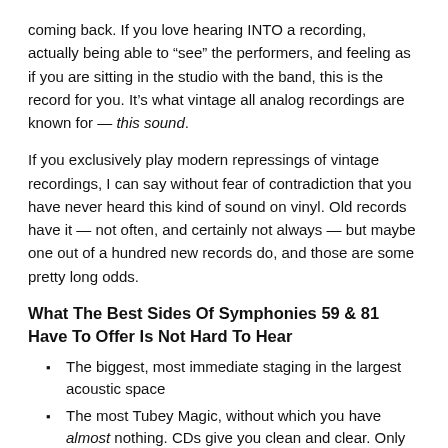coming back. If you love hearing INTO a recording, actually being able to “see” the performers, and feeling as if you are sitting in the studio with the band, this is the record for you. It’s what vintage all analog recordings are known for — this sound.
If you exclusively play modern repressings of vintage recordings, I can say without fear of contradiction that you have never heard this kind of sound on vinyl. Old records have it — not often, and certainly not always — but maybe one out of a hundred new records do, and those are some pretty long odds.
What The Best Sides Of Symphonies 59 & 81 Have To Offer Is Not Hard To Hear
The biggest, most immediate staging in the largest acoustic space
The most Tubey Magic, without which you have almost nothing. CDs give you clean and clear. Only the best vintage vinyl pressings offer the kind of Tubey Magic that